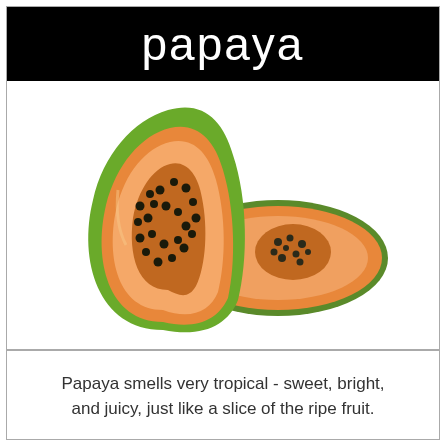papaya
[Figure (photo): Two halves of a papaya cut open showing orange flesh and black seeds, with green skin, on a white background.]
Papaya smells very tropical - sweet, bright, and juicy, just like a slice of the ripe fruit.